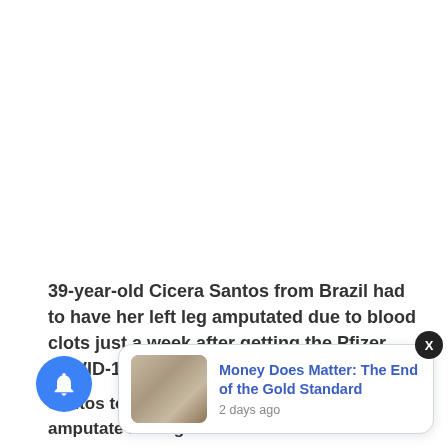39-year-old Cicera Santos from Brazil had to have her left leg amputated due to blood clots just a week after getting the Pfizer COVID-19 vaccine.
Santos took the ... four days later w... posis was ... amputate her leg below the knee.
[Figure (screenshot): A popup notification card showing a thumbnail of hands holding coins with the headline 'Money Does Matter: The End of the Gold Standard' and timestamp '2 days ago', with an X close button and a blue notification bell icon with badge '3']